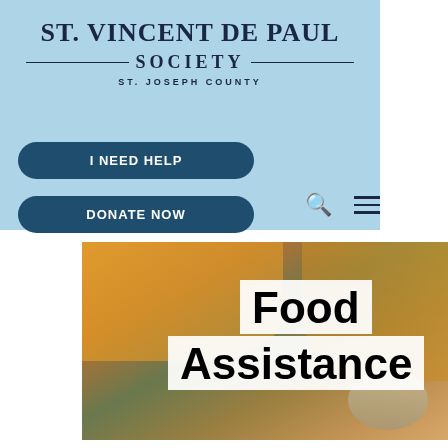[Figure (logo): St. Vincent de Paul Society - St. Joseph County logo with serif bold text and decorative divider lines]
I NEED HELP
DONATE NOW
[Figure (photo): Overhead photo of persons packing food items including canned goods and bottles into boxes, with text overlay reading 'Food Assistance']
Food Assistance
The St. Vincent de Paul Society of St. Joseph County provides emergency food assistance through our food pantry, bread basket, home visits, and community garden.